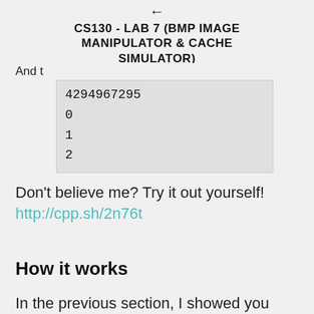CS130 - LAB 7 (BMP IMAGE MANIPULATOR & CACHE SIMULATOR)
And t
| OUTPUT |
| --- |
| 4294967295 |
| 0 |
| 1 |
| 2 |
Don't believe me? Try it out yourself!
http://cpp.sh/2n76t
How it works
In the previous section, I showed you how to get something from the